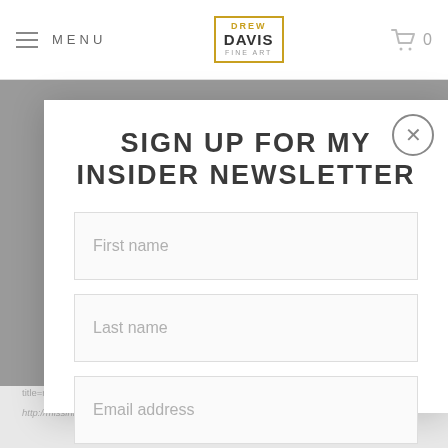MENU | DREW DAVIS FINE ART | 0
SIGN UP FOR MY INSIDER NEWSLETTER
First name
Last name
Email address
SIGN UP
title=nkto020kong20electronics20(autumn20edition)&...
http://missinfo.tv/index.php?